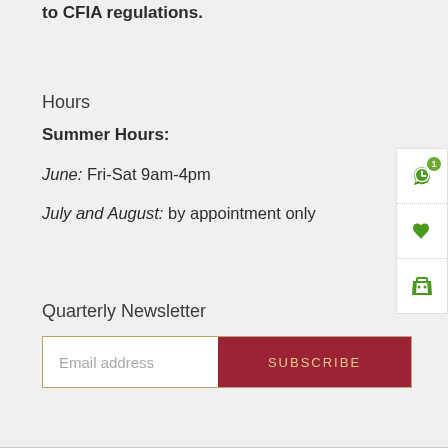to CFIA regulations.
Hours
Summer Hours:
June: Fri-Sat 9am-4pm
July and August: by appointment only
Quarterly Newsletter
Email address
SUBSCRIBE